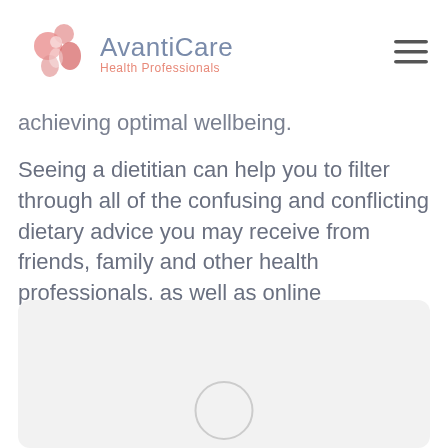AvantiCare Health Professionals
achieving optimal wellbeing.
Seeing a dietitian can help you to filter through all of the confusing and conflicting dietary advice you may receive from friends, family and other health professionals, as well as online misinformation, to provide you with individualised and evidence-based information to help you eat smarter, healthier and more mindfully.
[Figure (other): A light grey rounded rectangle box with a circular outline placeholder element at the bottom center, suggesting an image or media content area]